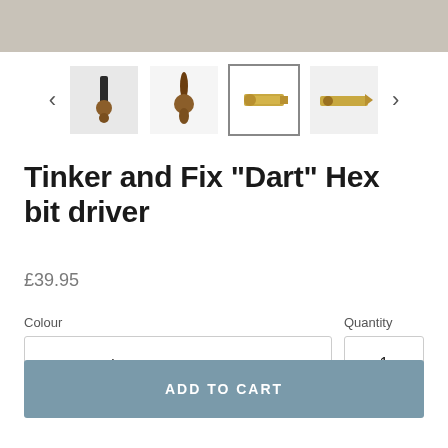[Figure (photo): Top portion of product image - grey/tan background, partially cropped]
[Figure (photo): Thumbnail row showing 4 product images of the Tinker and Fix Dart Hex bit driver with navigation arrows on each side]
Tinker and Fix "Dart" Hex bit driver
£39.95
Colour
Brass Bearing
Quantity
1
ADD TO CART